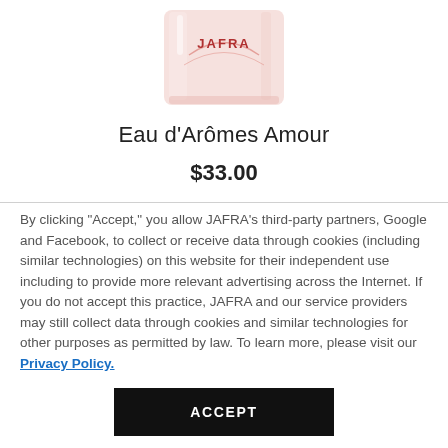[Figure (photo): Partial image of a JAFRA perfume bottle (Eau d'Arômes Amour), cropped at top, showing a pinkish glass bottle with 'JAFRA' text in red on the label.]
Eau d'Arômes Amour
$33.00
By clicking "Accept," you allow JAFRA's third-party partners, Google and Facebook, to collect or receive data through cookies (including similar technologies) on this website for their independent use including to provide more relevant advertising across the Internet. If you do not accept this practice, JAFRA and our service providers may still collect data through cookies and similar technologies for other purposes as permitted by law. To learn more, please visit our Privacy Policy.
ACCEPT